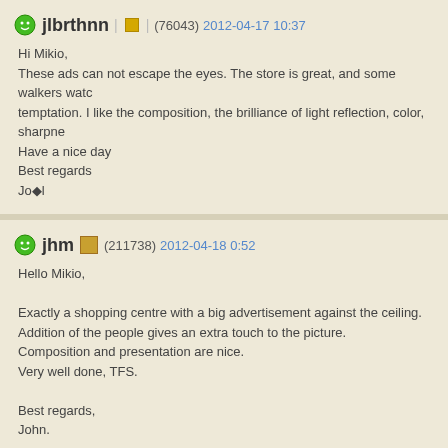jlbrthnn (76043) 2012-04-17 10:37
Hi Mikio,
These ads can not escape the eyes. The store is great, and some walkers watch temptation. I like the composition, the brilliance of light reflection, color, sharpne...
Have a nice day
Best regards
Jo♦l
jhm (211738) 2012-04-18 0:52
Hello Mikio,
Exactly a shopping centre with a big advertisement against the ceiling.
Addition of the people gives an extra touch to the picture.
Composition and presentation are nice.
Very well done, TFS.
Best regards,
John.
berek (50518) 2012-04-18 22:06